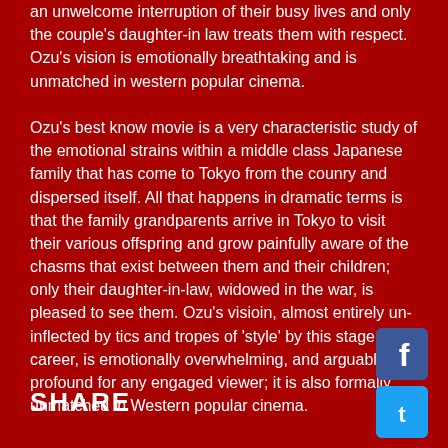an unwelcome interruption of their busy lives and only the couple's daughter-in law treats them with respect. Ozu's vision is emotionally breathtaking and is unmatched in western popular cinema. Ozu's best know movie is a very characteristic study of the emotional strains within a middle class Japanese family that has come to Tokyo from the counry and dispersed itself. All that happens in dramatic terms is that the family grandparents arrive in Tokyo to visit their various offspring and grow painfully aware of the chasms that exist between them and their children; only their daughter-in-law, widowed in the war, is pleased to see them. Ozu's visioin, almost entirely un-inflected by tics and tropes of 'style' by this stage in his career, is emotionally overwhelming, and arguably profound for any engaged viewer; it is also formally unmatched in Western popular cinema.
SHARE